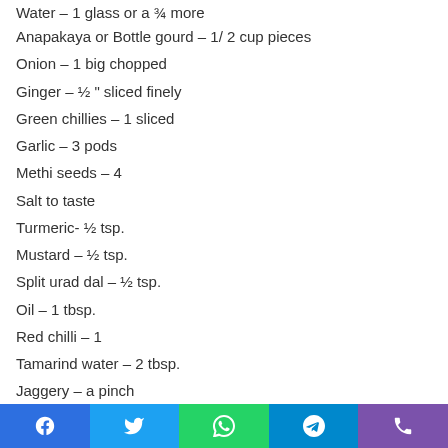Water – 1 glass or a ¾ more
Anapakaya or Bottle gourd – 1/ 2 cup pieces
Onion – 1 big chopped
Ginger – ½ " sliced finely
Green chillies – 1 sliced
Garlic – 3 pods
Methi seeds – 4
Salt to taste
Turmeric- ½ tsp.
Mustard – ½ tsp.
Split urad dal – ½ tsp.
Oil – 1 tbsp.
Red chilli – 1
Tamarind water – 2 tbsp.
Jaggery – a pinch
Social share buttons: Facebook, Twitter, WhatsApp, Telegram, Phone